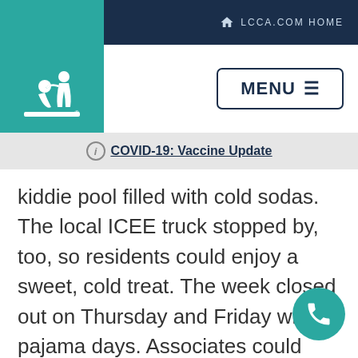LCCA.COM HOME
[Figure (logo): LCCA logo: white silhouette of caregiver with patient on teal background]
MENU ≡
ⓘ COVID-19: Vaccine Update
kiddie pool filled with cold sodas. The local ICEE truck stopped by, too, so residents could enjoy a sweet, cold treat. The week closed out on Thursday and Friday with pajama days. Associates could choose from a variety of cereals, and there was also a variety of games and an ice cream buffet.
[Figure (illustration): Teal phone icon button in bottom right corner]